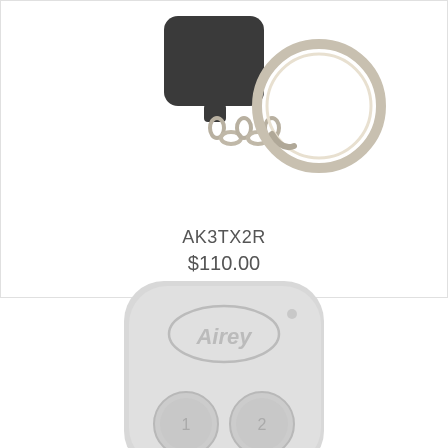[Figure (photo): A small black square key fob remote control with a metal key ring and chain attached, photographed on white background.]
AK3TX2R
$110.00
[Figure (photo): A light grey rounded rectangular key fob remote control with two circular buttons labeled 1 and 2, and a logo embossed on top, photographed on white background.]